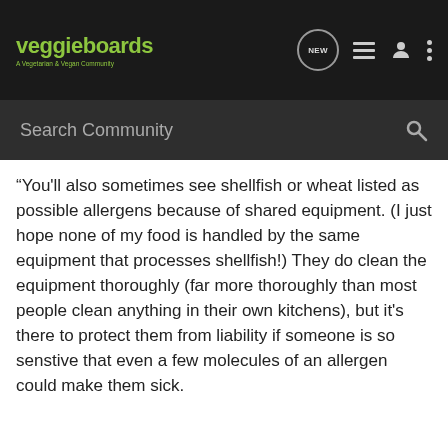[Figure (screenshot): VeggieBoards website navigation bar with logo, NEW chat bubble icon, list icon, person icon, and three-dots menu icon]
[Figure (screenshot): Search Community search bar with magnifying glass icon]
“You'll also sometimes see shellfish or wheat listed as possible allergens because of shared equipment. (I just hope none of my food is handled by the same equipment that processes shellfish!) They do clean the equipment thoroughly (far more thoroughly than most people clean anything in their own kitchens), but it's there to protect them from liability if someone is so senstive that even a few molecules of an allergen could make them sick.
Alli · Registered
Joined Sep 10, 2006 · 684 Posts